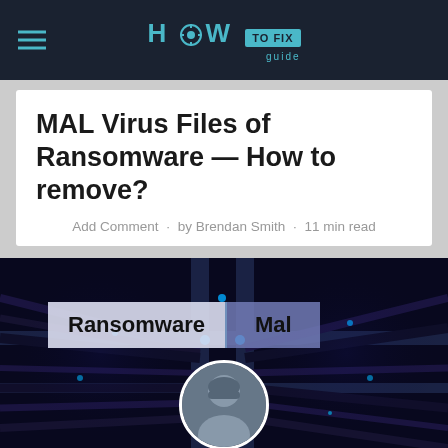HOW TO FIX guide
MAL Virus Files of Ransomware — How to remove?
Add Comment · by Brendan Smith · 11 min read
[Figure (photo): Dark background photo of network cables/server infrastructure with blue glowing lights, overlaid with two label boxes reading 'Ransomware' and 'Mal', and a circular author photo of Brendan Smith at the bottom center.]